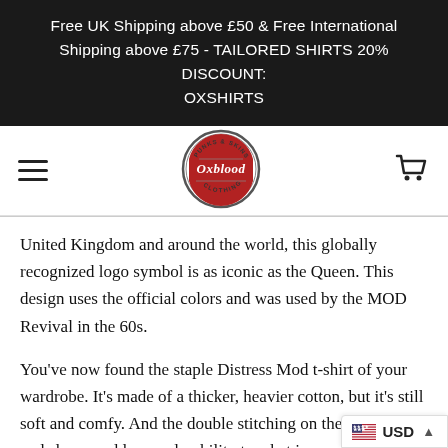Free UK Shipping above £50 & Free International Shipping above £75 - TAILORED SHIRTS 20% DISCOUNT: OXSHIRTS
[Figure (logo): Oxblood Clothing logo — circular badge with 'PUNKS & SKINS' text at top, 'Oxblood' in red script in the center, 'CLOTHING' at bottom]
United Kingdom and around the world, this globally recognized logo symbol is as iconic as the Queen. This design uses the official colors and was used by the MOD Revival in the 60s.
You've now found the staple Distress Mod t-shirt of your wardrobe. It's made of a thicker, heavier cotton, but it's still soft and comfy. And the double stitching on the neckline and sleeves add more durability to what is sure to be a favorite!